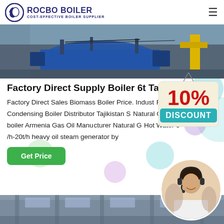ROCBO BOILER — COST-EFFECTIVE BOILER SUPPLIER
[Figure (photo): Industrial boiler/turbine equipment photo — blue and yellow machinery]
Factory Direct Supply Boiler 6t Tajikistan
Factory Direct Sales Biomass Boiler Price. Industrial Fired Condensing Boiler Distributor Tajikistan S… Natural Gas fired boiler Armenia Gas Oil Manufacturer Natural Gas Hot Water 0 /h-20t/h heavy oil steam generator by
[Figure (infographic): 10% DISCOUNT badge hanging sign in red and teal text]
[Figure (photo): Customer service representative with headset, circular crop]
[Figure (photo): Partial bottom image of industrial facility]